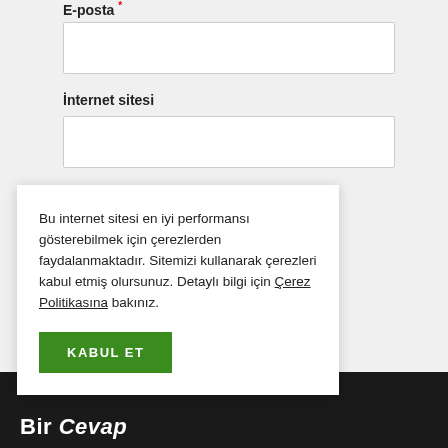E-posta *
İnternet sitesi
Bir dahaki sefere yorum yaptığımda kullanılmak üzere adımı, e-posta adresimi ve web site
Bu internet sitesi en iyi performansı gösterebilmek için çerezlerden faydalanmaktadır. Sitemizi kullanarak çerezleri kabul etmiş olursunuz. Detaylı bilgi için Çerez Politikasına bakınız.
KABUL ET